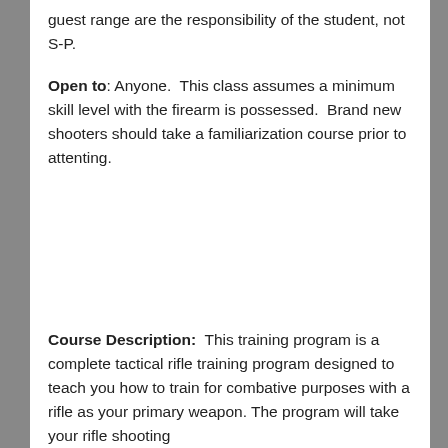guest range are the responsibility of the student, not S-P.
Open to: Anyone.  This class assumes a minimum skill level with the firearm is possessed.  Brand new shooters should take a familiarization course prior to attenting.
Course Description:  This training program is a complete tactical rifle training program designed to teach you how to train for combative purposes with a rifle as your primary weapon. The program will take your rifle shooting